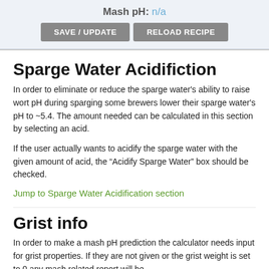Mash pH: n/a
SAVE / UPDATE   RELOAD RECIPE
Sparge Water Acidifiction
In order to eliminate or reduce the sparge water’s ability to raise wort pH during sparging some brewers lower their sparge water’s pH to ~5.4. The amount needed can be calculated in this section by selecting an acid.
If the user actually wants to acidify the sparge water with the given amount of acid, the “Acidify Sparge Water” box should be checked.
Jump to Sparge Water Acidification section
Grist info
In order to make a mash pH prediction the calculator needs input for grist properties. If they are not given or the grist weight is set to 0 any mash related report will be